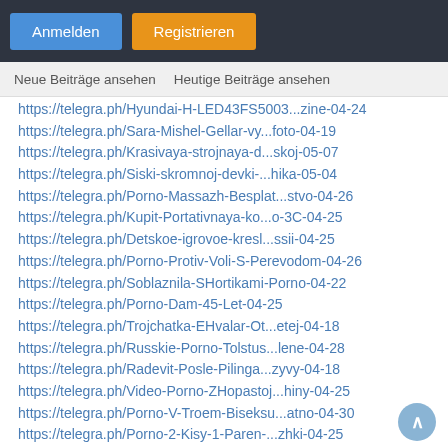Anmelden  Registrieren
Neue Beiträge ansehen    Heutige Beiträge ansehen
https://telegra.ph/Hyundai-H-LED43FS5003...zine-04-24
https://telegra.ph/Sara-Mishel-Gellar-vy...foto-04-19
https://telegra.ph/Krasivaya-strojnaya-d...skoj-05-07
https://telegra.ph/Siski-skromnoj-devki-...hika-05-04
https://telegra.ph/Porno-Massazh-Besplat...stvo-04-26
https://telegra.ph/Kupit-Portativnaya-ko...o-3C-04-25
https://telegra.ph/Detskoe-igrovoe-kresl...ssii-04-25
https://telegra.ph/Porno-Protiv-Voli-S-Perevodom-04-26
https://telegra.ph/Soblaznila-SHortikami-Porno-04-22
https://telegra.ph/Porno-Dam-45-Let-04-25
https://telegra.ph/Trojchatka-EHvalar-Ot...etej-04-18
https://telegra.ph/Russkie-Porno-Tolstus...lene-04-28
https://telegra.ph/Radevit-Posle-Pilinga...zyvy-04-18
https://telegra.ph/Video-Porno-ZHopastoj...hiny-04-25
https://telegra.ph/Porno-V-Troem-Biseksu...atno-04-30
https://telegra.ph/Porno-2-Kisy-1-Paren-...zhki-04-25
https://telegra.ph/CHem-Otlichaetsya-Tel...ista-04-18